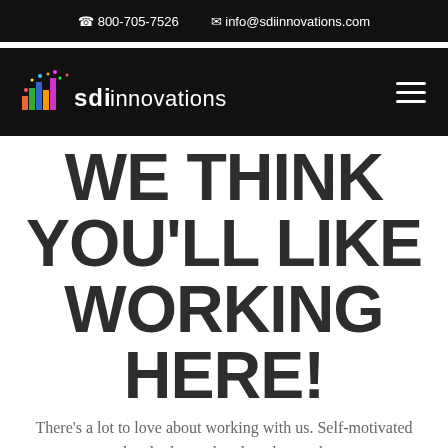📞 800-705-7526   ✉ info@sdiinnovations.com
[Figure (logo): SDI Innovations logo on black navigation bar with hamburger menu icon on the right]
WE THINK YOU'LL LIKE WORKING HERE!
There's a lot to love about working with us. Self-motivated people who love what they do are always welcome here.